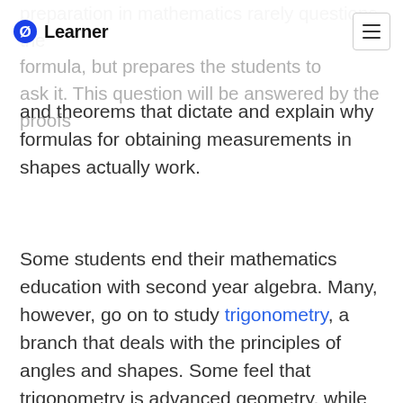Learner
preparation in mathematics rarely questions the formula, but prepares the students to ask it. This question will be answered by the proofs and theorems that dictate and explain why formulas for obtaining measurements in shapes actually work.
Some students end their mathematics education with second year algebra. Many, however, go on to study trigonometry, a branch that deals with the principles of angles and shapes. Some feel that trigonometry is advanced geometry, while others argue it is a completely separate area of study. It has broad applications, but one most familiar to